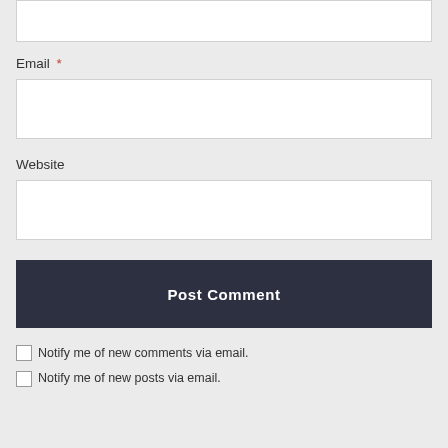[Figure (screenshot): Top portion of a partially visible text input box (white rectangle with border)]
Email *
[Figure (screenshot): Email input field — empty white rectangle with border]
Website
[Figure (screenshot): Website input field — empty white rectangle with border]
Post Comment
Notify me of new comments via email.
Notify me of new posts via email.